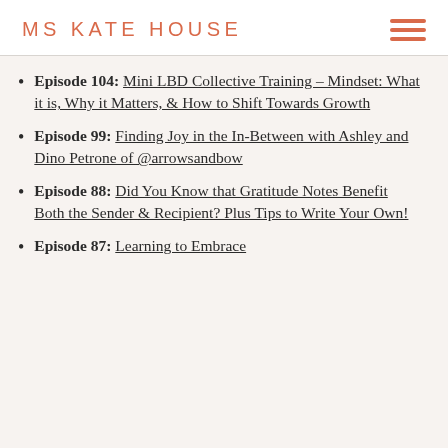MS KATE HOUSE
Episode 104: Mini LBD Collective Training – Mindset: What it is, Why it Matters, & How to Shift Towards Growth
Episode 99: Finding Joy in the In-Between with Ashley and Dino Petrone of @arrowsandbow
Episode 88: Did You Know that Gratitude Notes Benefit Both the Sender & Recipient? Plus Tips to Write Your Own!
Episode 87: Learning to Embrace